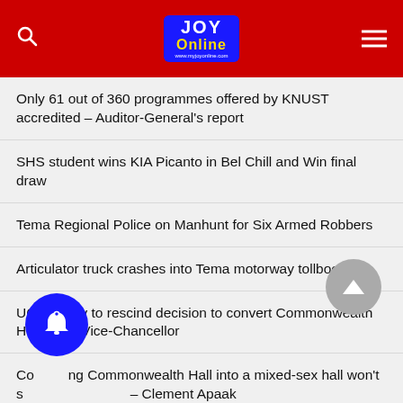JOY Online
Only 61 out of 360 programmes offered by KNUST accredited – Auditor-General's report
SHS student wins KIA Picanto in Bel Chill and Win final draw
Tema Regional Police on Manhunt for Six Armed Robbers
Articulator truck crashes into Tema motorway tollbooth
UG unlikely to rescind decision to convert Commonwealth Hall – Pro Vice-Chancellor
Converting Commonwealth Hall into a mixed-sex hall won't solve the problem – Clement Apaak
We are committed to ensuring smooth implementation of